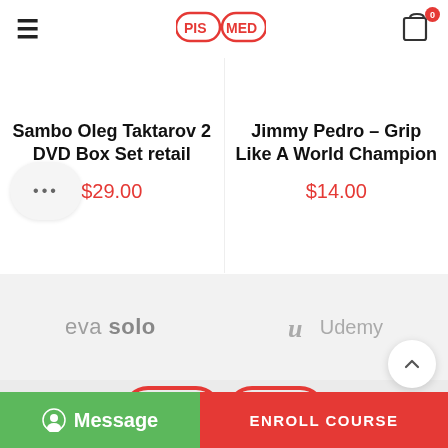PIS|MED header with hamburger menu and cart icon
Sambo Oleg Taktarov 2 DVD Box Set retail
$29.00
Jimmy Pedro – Grip Like A World Champion
$14.00
[Figure (logo): eva solo brand logo in gray]
[Figure (logo): Udemy brand logo in gray with stylized U icon]
[Figure (logo): Large PIS|MED logo in footer area]
Message
ENROLL COURSE